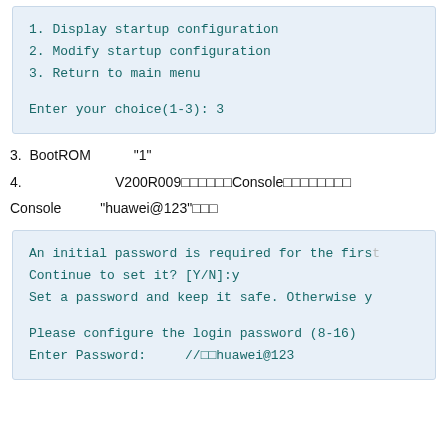[Figure (screenshot): Terminal/console screenshot showing a startup configuration menu with options 1. Display startup configuration, 2. Modify startup configuration, 3. Return to main menu, and user input Enter your choice(1-3): 3]
3. BootROM "1"
4. V200R009Console Console "huawei@123"
[Figure (screenshot): Terminal screenshot showing: An initial password is required for the firs[t login...] Continue to set it? [Y/N]:y  Set a password and keep it safe. Otherwise y[ou...]  Please configure the login password (8-16)  Enter Password:  //huawei@123]